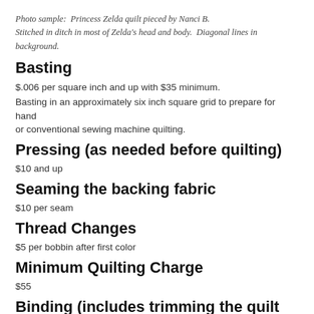Photo sample:  Princess Zelda quilt pieced by Nanci B. Stitched in ditch in most of Zelda's head and body.  Diagonal lines in background.
Basting
$.006 per square inch and up with $35 minimum.
Basting in an approximately six inch square grid to prepare for hand or conventional sewing machine quilting.
Pressing (as needed before quilting)
$10 and up
Seaming the backing fabric
$10 per seam
Thread Changes
$5 per bobbin after first color
Minimum Quilting Charge
$55
Binding (includes trimming the quilt and